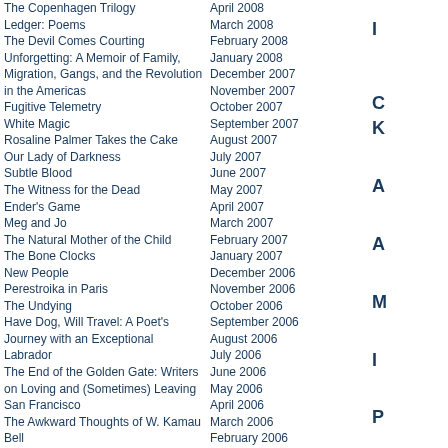The Copenhagen Trilogy
Ledger: Poems
The Devil Comes Courting
Unforgetting: A Memoir of Family, Migration, Gangs, and the Revolution in the Americas
Fugitive Telemetry
White Magic
Rosaline Palmer Takes the Cake
Our Lady of Darkness
Subtle Blood
The Witness for the Dead
Ender's Game
Meg and Jo
The Natural Mother of the Child
The Bone Clocks
New People
Perestroika in Paris
The Undying
Have Dog, Will Travel: A Poet's Journey with an Exceptional Labrador
The End of the Golden Gate: Writers on Loving and (Sometimes) Leaving San Francisco
The Awkward Thoughts of W. Kamau Bell
Turning Pointe: How a New Generation of Dancers Is Saving Ballet from Itself
Crying in H Mart
The Galaxy, and the Ground Within
Having and Being Had
The Life of the Mind
In Search of a Kingdom: Francis Drake, Elizabeth I, and the Perilous Birth of the British Empire
The Secret Lives of Color
Lost and Founder: The Mostly Awful, Sometimes Awesome Truth about Building a Tech Startup
April 2008
March 2008
February 2008
January 2008
December 2007
November 2007
October 2007
September 2007
August 2007
July 2007
June 2007
May 2007
April 2007
March 2007
February 2007
January 2007
December 2006
November 2006
October 2006
September 2006
August 2006
July 2006
June 2006
May 2006
April 2006
March 2006
February 2006
January 2006
December 2005
November 2005
October 2005
September 2005
August 2005
July 2005
June 2005
May 2005
April 2005